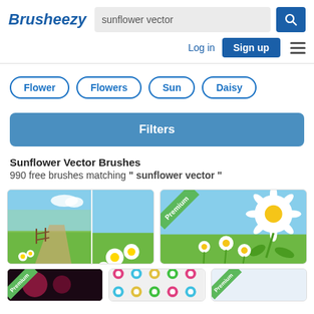Brusheezy
sunflower vector
Flower
Flowers
Sun
Daisy
Filters
Sunflower Vector Brushes
990 free brushes matching " sunflower vector "
[Figure (screenshot): Two thumbnail images of daisy/flower vector scenes with blue sky and green grass. Both labeled Premium.]
[Figure (screenshot): Large thumbnail of white daisy flowers on blue sky background labeled Premium.]
[Figure (screenshot): Partial thumbnail, dark background, labeled Premium.]
[Figure (screenshot): Partial thumbnail, colorful flower pattern.]
[Figure (screenshot): Partial thumbnail, light background, labeled Premium.]